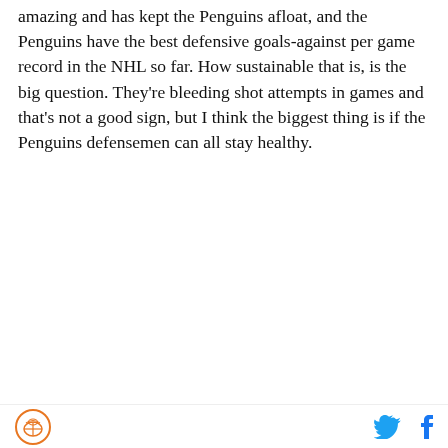amazing and has kept the Penguins afloat, and the Penguins have the best defensive goals-against per game record in the NHL so far. How sustainable that is, is the big question. They're bleeding shot attempts in games and that's not a good sign, but I think the biggest thing is if the Penguins defensemen can all stay healthy.
[Figure (other): DraftKings Sportsbook betting widget for Connor McDavid to win MVP with odds +250]
Site logo and social media icons (Twitter and Facebook)